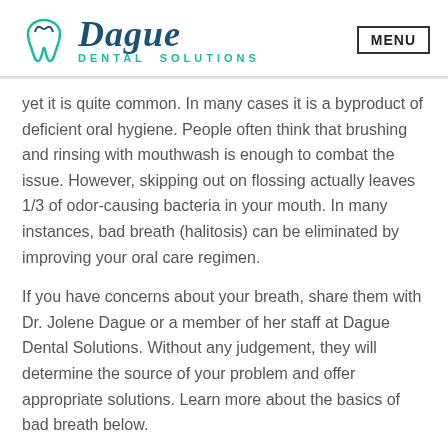Dague Dental Solutions | MENU
yet it is quite common. In many cases it is a byproduct of deficient oral hygiene. People often think that brushing and rinsing with mouthwash is enough to combat the issue. However, skipping out on flossing actually leaves 1/3 of odor-causing bacteria in your mouth. In many instances, bad breath (halitosis) can be eliminated by improving your oral care regimen.
If you have concerns about your breath, share them with Dr. Jolene Dague or a member of her staff at Dague Dental Solutions. Without any judgement, they will determine the source of your problem and offer appropriate solutions. Learn more about the basics of bad breath below.